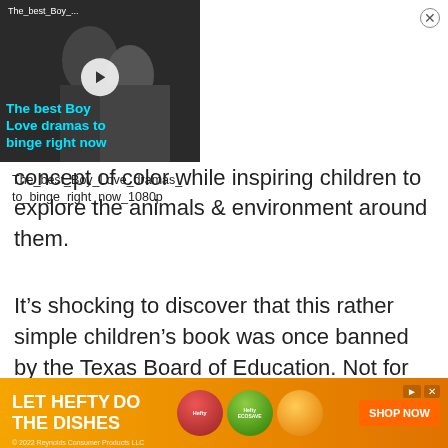[Figure (screenshot): Video thumbnail overlay showing two people and a play button, with title 'The best Boy Love dramas to binge right now'. Adjacent text shows 'The_best_Boy_Love_dramas_to_binge_right_now_1080p' with a close (X) button.]
concept of color while inspiring children to explore the animals & environment around them.
It’s shocking to discover that this rather simple children’s book was once banned by the Texas Board of Education. Not for its “illogical” use of color but for possible Marxist content. Perhaps the blue horse was too blue for their taste!
[Figure (screenshot): Advertisement banner: 'LET HEFTY DO THE DISHES' on orange gradient background with product images and 'SHOP NOW' button. Copyright 2022 Reynolds Consumer Products LLC.]